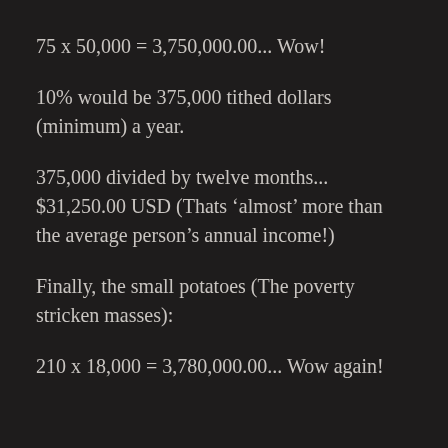75 x 50,000 = 3,750,000.00... Wow!
10% would be 375,000 tithed dollars (minimum) a year.
375,000 divided by twelve months... $31,250.00 USD (Thats ‘almost’ more than the average person’s annual income!)
Finally, the small potatoes (The poverty stricken masses):
210 x 18,000 = 3,780,000.00... Wow again!